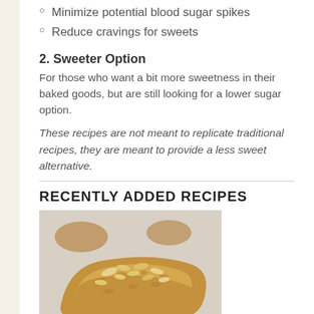Minimize potential blood sugar spikes
Reduce cravings for sweets
2. Sweeter Option
For those who want a bit more sweetness in their baked goods, but are still looking for a lower sugar option.
These recipes are not meant to replicate traditional recipes, they are meant to provide a less sweet alternative.
RECENTLY ADDED RECIPES
[Figure (photo): Photo of low sugar almond scones on a baking sheet - golden brown baked goods topped with sliced almonds]
Low Sugar Almond Scones
Low Sugar Gluten Free Blueberry Cornmeal Muffins
Low Sugar Whole Orange Cake